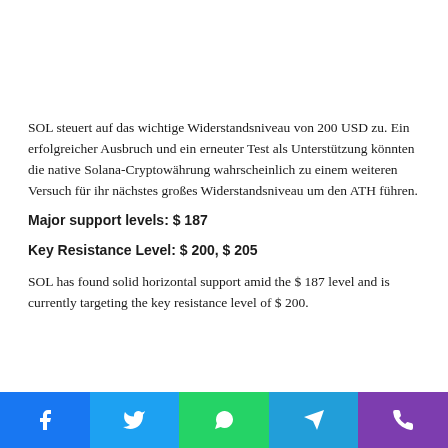SOL steuert auf das wichtige Widerstandsniveau von 200 USD zu. Ein erfolgreicher Ausbruch und ein erneuter Test als Unterstützung könnten die native Solana-Cryptowährung wahrscheinlich zu einem weiteren Versuch für ihr nächstes großes Widerstandsniveau um den ATH führen.
Major support levels: $ 187
Key Resistance Level: $ 200, $ 205
SOL has found solid horizontal support amid the $ 187 level and is currently targeting the key resistance level of $ 200.
Social share buttons: Facebook, Twitter, WhatsApp, Telegram, Phone